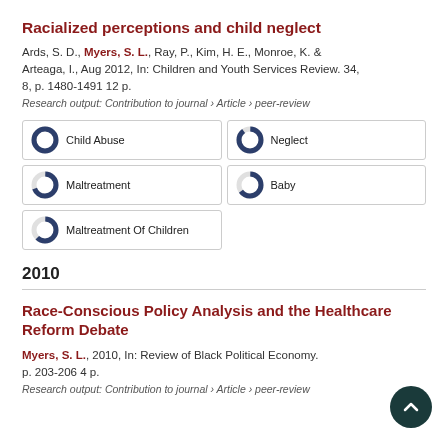Racialized perceptions and child neglect
Ards, S. D., Myers, S. L., Ray, P., Kim, H. E., Monroe, K. & Arteaga, I., Aug 2012, In: Children and Youth Services Review. 34, 8, p. 1480-1491 12 p.
Research output: Contribution to journal › Article › peer-review
Child Abuse | Neglect | Maltreatment | Baby | Maltreatment Of Children
2010
Race-Conscious Policy Analysis and the Healthcare Reform Debate
Myers, S. L., 2010, In: Review of Black Political Economy. p. 203-206 4 p.
Research output: Contribution to journal › Article › peer-review